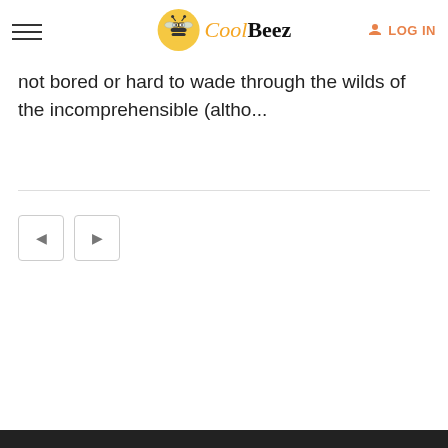CoolBeez - LOG IN
not bored or hard to wade through the wilds of the incomprehensible (altho...
[Figure (other): Pagination buttons showing page navigation icons]